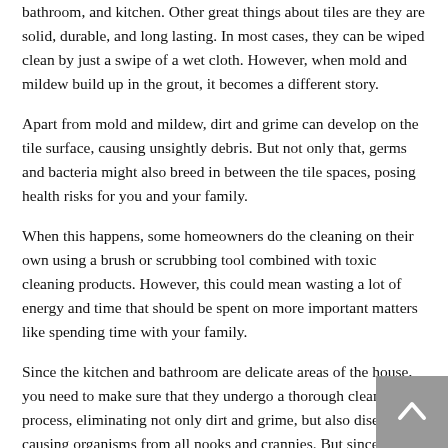bathroom, and kitchen. Other great things about tiles are they are solid, durable, and long lasting. In most cases, they can be wiped clean by just a swipe of a wet cloth. However, when mold and mildew build up in the grout, it becomes a different story.
Apart from mold and mildew, dirt and grime can develop on the tile surface, causing unsightly debris. But not only that, germs and bacteria might also breed in between the tile spaces, posing health risks for you and your family.
When this happens, some homeowners do the cleaning on their own using a brush or scrubbing tool combined with toxic cleaning products. However, this could mean wasting a lot of energy and time that should be spent on more important matters like spending time with your family.
Since the kitchen and bathroom are delicate areas of the house, you need to make sure that they undergo a thorough cleaning process, eliminating not only dirt and grime, but also disease-causing organisms from all nooks and crannies. But since most homeowners only know traditional cleaning, achieving this might be harder than you think. If you’re concerned about filthy buildups in your tile and grout, call